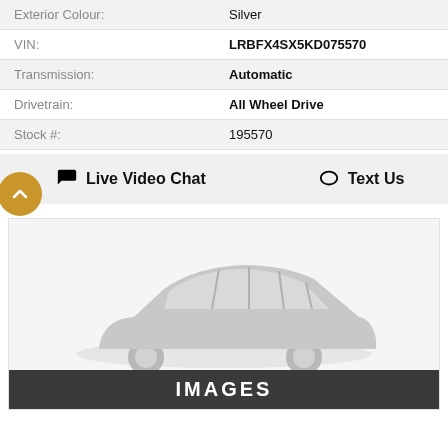| Field | Value |
| --- | --- |
| Exterior Colour: | Silver |
| VIN: | LRBFX4SX5KD075570 |
| Transmission: | Automatic |
| Drivetrain: | All Wheel Drive |
| Stock #: | 195570 |
Live Video Chat   Text Us
[Figure (photo): Placeholder silhouette image of a car (SUV/sedan) shown in light gray on a light gray background, with an IMAGES label overlay at the bottom.]